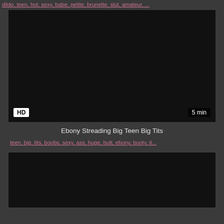dildo, teen, hot, sexy, babe, petite, brunette, slut, amateur, ...
[Figure (screenshot): Dark video thumbnail with HD badge bottom-left and '5 min' duration badge bottom-right]
Ebony Streading Big Teen Big Tits
teen, big, tits, boobs, sexy, ass, huge, butt, ebony, booty, ti...
[Figure (screenshot): Dark video thumbnail, partially visible at bottom of page]